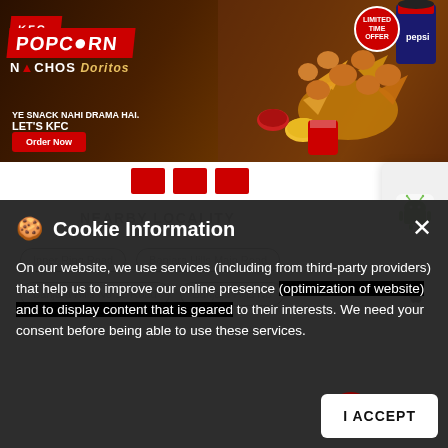[Figure (photo): KFC Popcorn Nachos advertisement banner with food items, Pepsi cup, and 'Order Now' button. Text: KFC POPCORN NACHOS Doritos, YE SNACK NAHI DRAMA HAI. LET'S KFC, Order Now, LIMITED TIME OFFER]
[Figure (screenshot): App store icons panel showing Android (Google Play) and Apple (App Store) logos on a light gray panel on the right side]
[Figure (screenshot): Red slider navigation dots below the banner]
Cookie Information
On our website, we use services (including from third-party providers) that help us to improve our online presence (optimization of website) and to display content that is geared to their interests. We need your consent before being able to use these services.
NEARBY LOCALITY
Inner Ring Road   Banjara Hills Main Road
Banjara Hills No 12 Road   Banjara Hills No
I ACCEPT